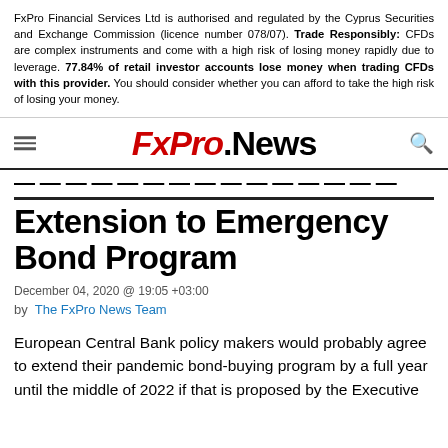FxPro Financial Services Ltd is authorised and regulated by the Cyprus Securities and Exchange Commission (licence number 078/07). Trade Responsibly: CFDs are complex instruments and come with a high risk of losing money rapidly due to leverage. 77.84% of retail investor accounts lose money when trading CFDs with this provider. You should consider whether you can afford to take the high risk of losing your money.
FxPro.News
ECB May Opt for 12-Month Extension to Emergency Bond Program
December 04, 2020 @ 19:05 +03:00
by The FxPro News Team
European Central Bank policy makers would probably agree to extend their pandemic bond-buying program by a full year until the middle of 2022 if that is proposed by the Executive